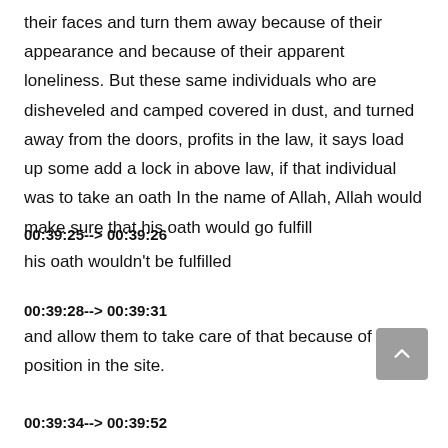their faces and turn them away because of their appearance and because of their apparent loneliness. But these same individuals who are disheveled and camped covered in dust, and turned away from the doors, profits in the law, it says load up some add a lock in above law, if that individual was to take an oath In the name of Allah, Allah would make sure that his oath would go fulfill
00:39:25--> 00:39:26
his oath wouldn't be fulfilled
00:39:28--> 00:39:31
and allow them to take care of that because of their position in the site.
00:39:34--> 00:39:52